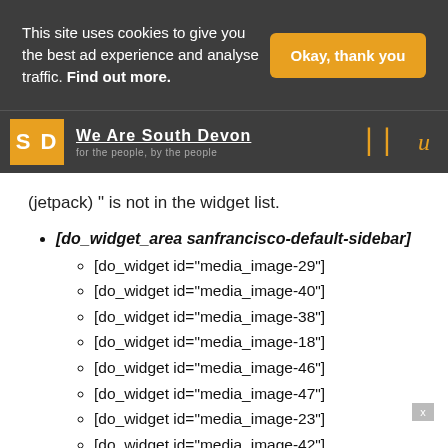This site uses cookies to give you the best ad experience and analyse traffic. Find out more.
Okay, thank you
[Figure (logo): We Are South Devon logo - SD in orange square, with tagline 'for the people, by the people']
(jetpack) " is not in the widget list.
[do_widget_area sanfrancisco-default-sidebar]
[do_widget id="media_image-29"]
[do_widget id="media_image-40"]
[do_widget id="media_image-38"]
[do_widget id="media_image-18"]
[do_widget id="media_image-46"]
[do_widget id="media_image-47"]
[do_widget id="media_image-23"]
[do_widget id="media_image-42"]